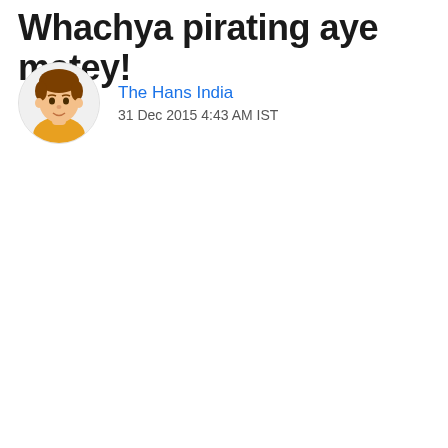Whachya pirating aye matey!
The Hans India
31 Dec 2015 4:43 AM IST